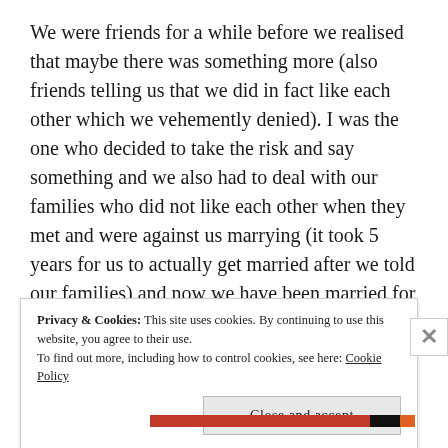We were friends for a while before we realised that maybe there was something more (also friends telling us that we did in fact like each other which we vehemently denied). I was the one who decided to take the risk and say something and we also had to deal with our families who did not like each other when they met and were against us marrying (it took 5 years for us to actually get married after we told our families) and now we have been married for 6 and a half years and have our own little shedu called Sherlock. Seeing Ali and Nahri and reading their journey and how their relationship progressed through the years and how so insanely similar it was to ours probably made
Privacy & Cookies: This site uses cookies. By continuing to use this website, you agree to their use.
To find out more, including how to control cookies, see here: Cookie Policy
Close and accept